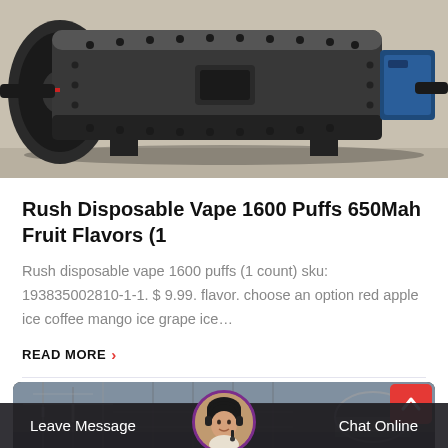[Figure (photo): Industrial ball mill machine, a large cylindrical grey metal grinding drum with bolted flanges, gear wheel on left side, blue motor on right, mounted on supports on a concrete floor]
Rush Disposable Vape 1600 Puffs 650Mah Fruit Flavors (1
Rush disposable vape 1600 puffs (1 count) sku: 193835002810-1-1. $ 9.99. flavor. choose an option red apple ice coffee mango ice grape ice…
READ MORE  >
[Figure (photo): Industrial factory or mining facility with metal scaffolding structures and equipment, viewed from ground level]
Leave Message    Chat Online